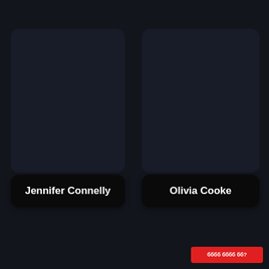[Figure (screenshot): Dark UI screen with two black rounded button labels: 'Jennifer Connelly' on the left and 'Olivia Cooke' on the right, positioned in the upper-middle area of a dark navy background. A red box with text in the bottom-right corner.]
Jennifer Connelly
Olivia Cooke
ббб ббб бб?